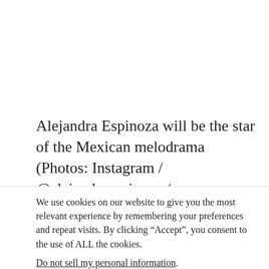Alejandra Espinoza will be the star of the Mexican melodrama (Photos: Instagram / @alejandraespinoza / @gabyspanictv) Warrior
We use cookies on our website to give you the most relevant experience by remembering your preferences and repeat visits. By clicking “Accept”, you consent to the use of ALL the cookies.
Do not sell my personal information.